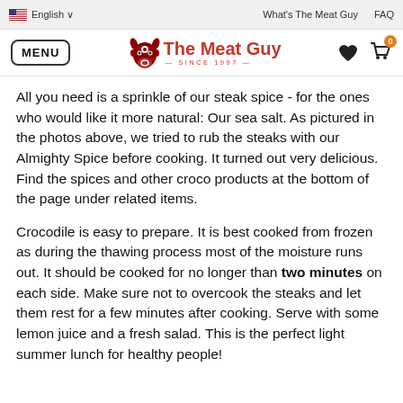English | What's The Meat Guy | FAQ
[Figure (logo): The Meat Guy logo with bull icon, red text 'The Meat Guy — SINCE 1997 —']
All you need is a sprinkle of our steak spice - for the ones who would like it more natural: Our sea salt. As pictured in the photos above, we tried to rub the steaks with our Almighty Spice before cooking. It turned out very delicious. Find the spices and other croco products at the bottom of the page under related items.
Crocodile is easy to prepare. It is best cooked from frozen as during the thawing process most of the moisture runs out. It should be cooked for no longer than two minutes on each side. Make sure not to overcook the steaks and let them rest for a few minutes after cooking. Serve with some lemon juice and a fresh salad. This is the perfect light summer lunch for healthy people!